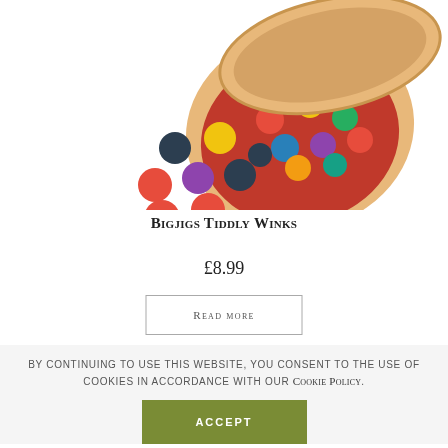[Figure (photo): A wooden tiddlywinks game set with a round wooden box (lid ajar showing colorful discs inside) and scattered colorful plastic discs in red, yellow, green, blue, purple, and dark navy on a white background.]
Bigjigs Tiddly Winks
£8.99
Read more
By continuing to use this website, you consent to the use of cookies in accordance with our Cookie Policy.
Accept